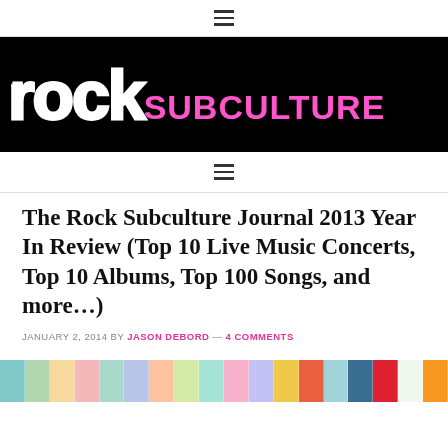☰ (navigation menu icon)
[Figure (logo): Rock Subculture logo — black background with large white bold lowercase 'rock' and pink uppercase 'SUBCULTURE' text]
☰ (navigation menu icon)
The Rock Subculture Journal 2013 Year In Review (Top 10 Live Music Concerts, Top 10 Albums, Top 100 Songs, and more…)
JANUARY 2, 2014 BY JASON DEBORD — 4 COMMENTS
[Figure (photo): Partial bottom strip showing colorful concert/music collage images]